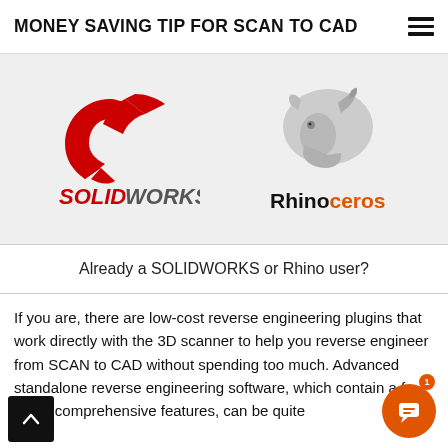MONEY SAVING TIP FOR SCAN TO CAD
[Figure (logo): SOLIDWORKS red 3DS logo mark and SOLIDWORKS wordmark in red/dark italic text, alongside Rhinoceros 3D rhino head logo and 'Rhinoceros' wordmark]
Already a SOLIDWORKS or Rhino user?
If you are, there are low-cost reverse engineering plugins that work directly with the 3D scanner to help you reverse engineer from SCAN to CAD without spending too much. Advanced standalone reverse engineering software, which contain a full set of comprehensive features, can be quite